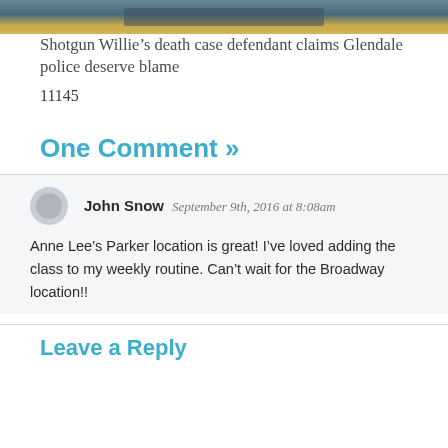[Figure (photo): Top portion of a photo showing a building exterior with teal/blue and yellow/tan colors, partially cropped]
Shotgun Willie’s death case defendant claims Glendale police deserve blame
11145
One Comment »
John Snow  September 9th, 2016 at 8:08am
Anne Lee’s Parker location is great! I’ve loved adding the class to my weekly routine. Can’t wait for the Broadway location!!
Leave a Reply